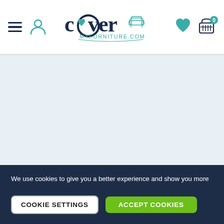[Figure (logo): CoverMyFurniture.com logo with teal heart and sofa icon]
[Figure (screenshot): Light blue-grey empty content area below header]
We use cookies to give you a better experience and show you more relevant adverts on other websites. You can choose to accept all cookies or manage them, with full details available in our cookie policy
COOKIE SETTINGS
ACCEPT COOKIES